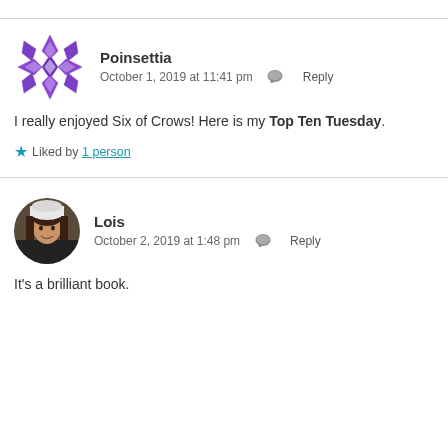Poinsettia
October 1, 2019 at 11:41 pm  Reply
I really enjoyed Six of Crows! Here is my Top Ten Tuesday.
Liked by 1 person
Lois
October 2, 2019 at 1:48 pm  Reply
It's a brilliant book.